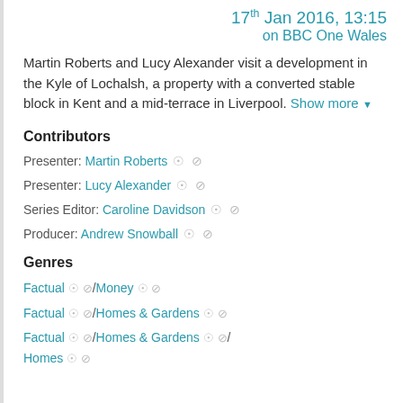17th Jan 2016, 13:15 on BBC One Wales
Martin Roberts and Lucy Alexander visit a development in the Kyle of Lochalsh, a property with a converted stable block in Kent and a mid-terrace in Liverpool. Show more
Contributors
Presenter: Martin Roberts
Presenter: Lucy Alexander
Series Editor: Caroline Davidson
Producer: Andrew Snowball
Genres
Factual / Money
Factual / Homes & Gardens
Factual / Homes & Gardens / Homes